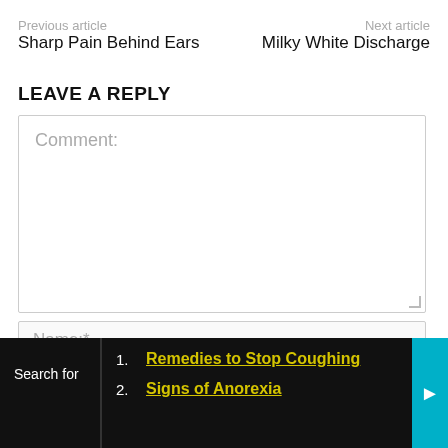Previous article | Sharp Pain Behind Ears | Next article | Milky White Discharge
LEAVE A REPLY
Comment:
Name:*
Search for
1. Remedies to Stop Coughing
2. Signs of Anorexia